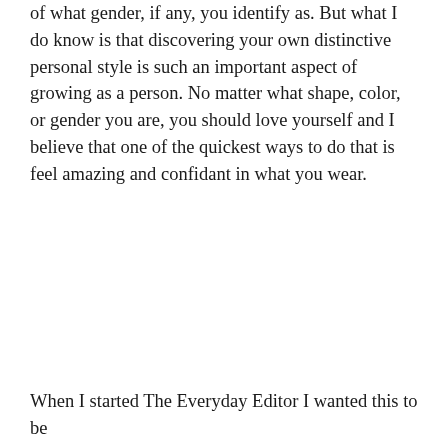of what gender, if any, you identify as. But what I do know is that discovering your own distinctive personal style is such an important aspect of growing as a person. No matter what shape, color, or gender you are, you should love yourself and I believe that one of the quickest ways to do that is feel amazing and confidant in what you wear.
When I started The Everyday Editor I wanted this to be